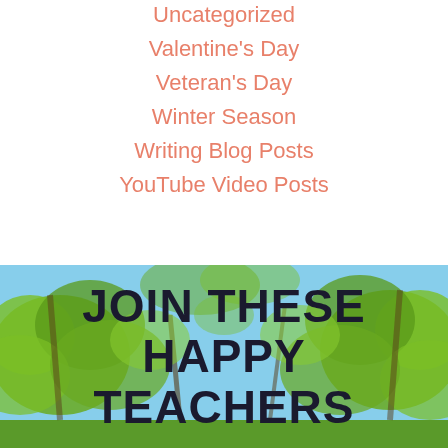Uncategorized
Valentine's Day
Veteran's Day
Winter Season
Writing Blog Posts
YouTube Video Posts
[Figure (photo): Outdoor photo of green leafy trees against a blue sky, used as background for a banner reading JOIN THESE HAPPY TEACHERS]
JOIN THESE HAPPY TEACHERS